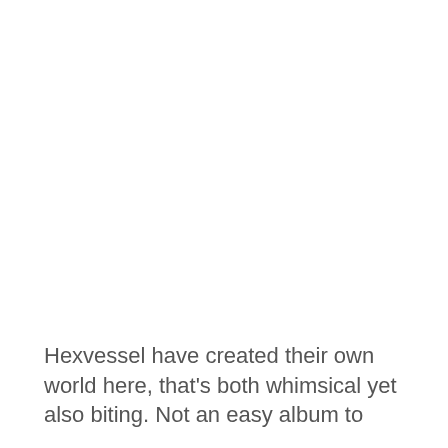Hexvessel have created their own world here, that's both whimsical yet also biting. Not an easy album to